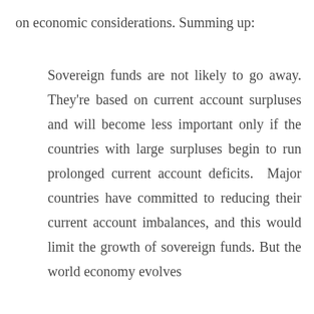on economic considerations. Summing up:
Sovereign funds are not likely to go away. They're based on current account surpluses and will become less important only if the countries with large surpluses begin to run prolonged current account deficits. Major countries have committed to reducing their current account imbalances, and this would limit the growth of sovereign funds. But the world economy evolves